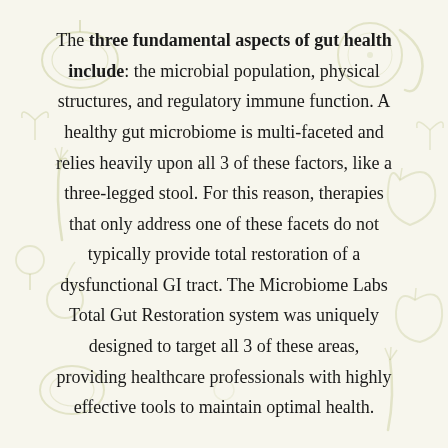The three fundamental aspects of gut health include: the microbial population, physical structures, and regulatory immune function. A healthy gut microbiome is multi-faceted and relies heavily upon all 3 of these factors, like a three-legged stool. For this reason, therapies that only address one of these facets do not typically provide total restoration of a dysfunctional GI tract. The Microbiome Labs Total Gut Restoration system was uniquely designed to target all 3 of these areas, providing healthcare professionals with highly effective tools to maintain optimal health.